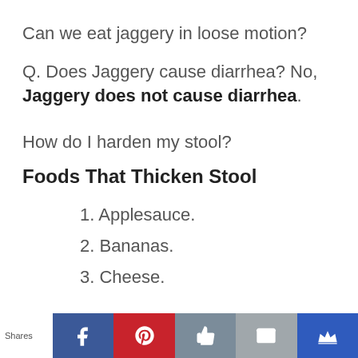Can we eat jaggery in loose motion?
Q. Does Jaggery cause diarrhea? No, Jaggery does not cause diarrhea.
How do I harden my stool?
Foods That Thicken Stool
1. Applesauce.
2. Bananas.
3. Cheese.
Shares [Facebook] [Pinterest] [Like] [Mail] [Crown]